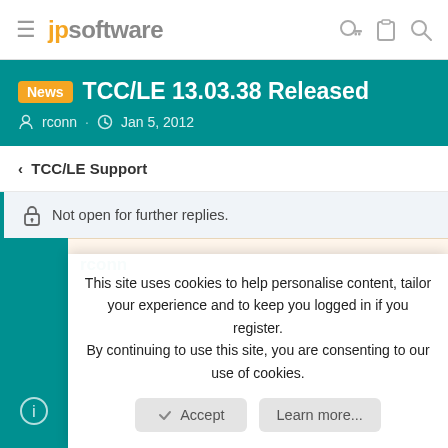jpsoftware
News TCC/LE 13.03.38 Released
rconn · Jan 5, 2012
< TCC/LE Support
Not open for further replies.
rconn
This site uses cookies to help personalise content, tailor your experience and to keep you logged in if you register.
By continuing to use this site, you are consenting to our use of cookies.